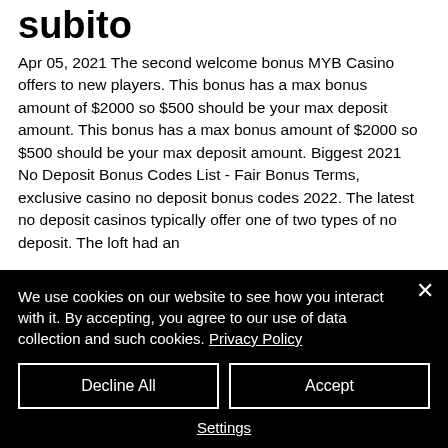subito
Apr 05, 2021 The second welcome bonus MYB Casino offers to new players. This bonus has a max bonus amount of $2000 so $500 should be your max deposit amount. This bonus has a max bonus amount of $2000 so $500 should be your max deposit amount. Biggest 2021 No Deposit Bonus Codes List - Fair Bonus Terms, exclusive casino no deposit bonus codes 2022. The latest no deposit casinos typically offer one of two types of no deposit. The loft had an
We use cookies on our website to see how you interact with it. By accepting, you agree to our use of data collection and such cookies. Privacy Policy
Decline All
Accept
Settings